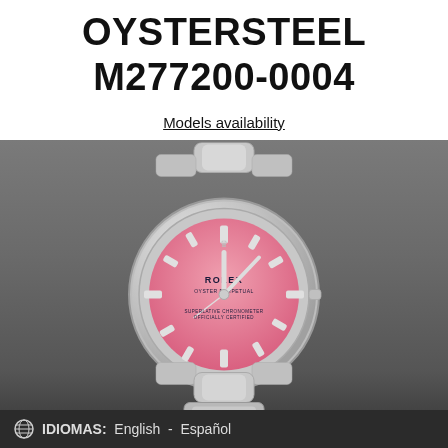OYSTERSTEEL M277200-0004
Models availability
[Figure (photo): Rolex Oyster Perpetual watch with pink dial and Oystersteel bracelet, photographed on a dark grey gradient background]
IDIOMAS: English - Español